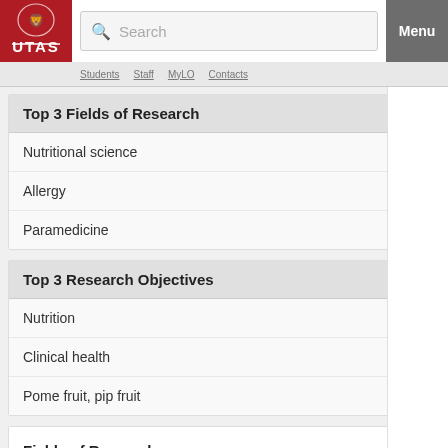[Figure (screenshot): UTAS university logo in red box with lion crest icon]
Search
Menu
Students | Staff | MyLO | Contacts
Top 3 Fields of Research
Nutritional science
Allergy
Paramedicine
Top 3 Research Objectives
Nutrition
Clinical health
Pome fruit, pip fruit
Fields of Research